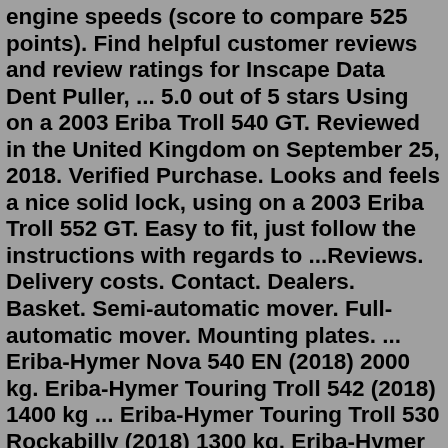engine speeds (score to compare 525 points). Find helpful customer reviews and review ratings for Inscape Data Dent Puller, ... 5.0 out of 5 stars Using on a 2003 Eriba Troll 540 GT. Reviewed in the United Kingdom on September 25, 2018. Verified Purchase. Looks and feels a nice solid lock, using on a 2003 Eriba Troll 552 GT. Easy to fit, just follow the instructions with regards to ...Reviews. Delivery costs. Contact. Dealers. Basket. Semi-automatic mover. Full-automatic mover. Mounting plates. ... Eriba-Hymer Nova 540 EN (2018) 2000 kg. Eriba-Hymer Touring Troll 542 (2018) 1400 kg ... Eriba-Hymer Touring Troll 530 Rockabilly (2018) 1300 kg. Eriba-Hymer Nova 495 GL (2018) 1800 kg ...Walker has developed a special awning Touring Plus for Eriba Touring Familia, Puck L, Puck 230, Triton and Troll in its assortment. Includes aluminium frame and curtains. Walker has a special solution for supporting the roof point. It is NOT necessary to drill into the caravan wall. Below you can find the prices of this awning for each type. Troll. Largest of the Eriba